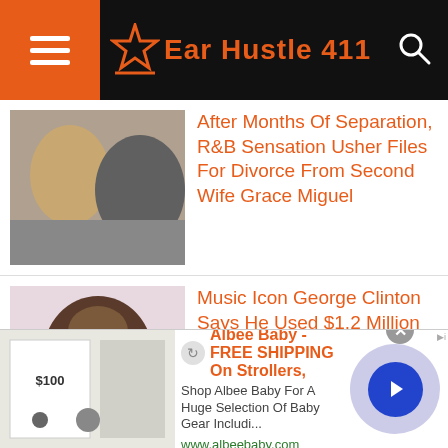Ear Hustle 411
After Months Of Separation, R&B Sensation Usher Files For Divorce From Second Wife Grace Miguel
Music Icon George Clinton Says He Used $1.2 Million in Counterfeit Money When He Recorded Parliament
Go Fund Me May Have To Issue Refunds After Millions Raised For Trumps Border Wall
Albee Baby - FREE SHIPPING On Strollers, Shop Albee Baby For A Huge Selection Of Baby Gear Includi... www.albeebaby.com